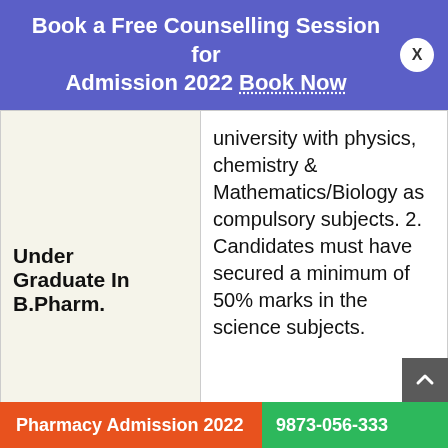Book a Free Counselling Session for Admission 2022 Book Now
| Course | Details |
| --- | --- |
| Under Graduate In B.Pharm. | university with physics, chemistry & Mathematics/Biology as compulsory subjects. 2. Candidates must have secured a minimum of 50% marks in the science subjects. |
| D.Pharma | Admission to D.Pharma (Post Baccalaureate) is open to a student who passed in B.Pharm. |
Pharmacy Admission 2022   9873-056-333